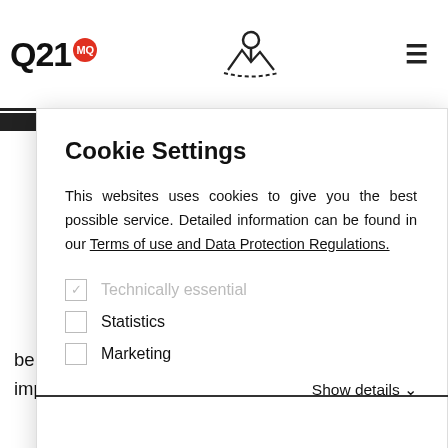Q21 MQ
Cookie Settings
This websites uses cookies to give you the best possible service. Detailed information can be found in our Terms of use and Data Protection Regulations.
Technically essential
Statistics
Marketing
Show details ˅
be very helpful to immerse myself in those visual impacts during the development of the project.